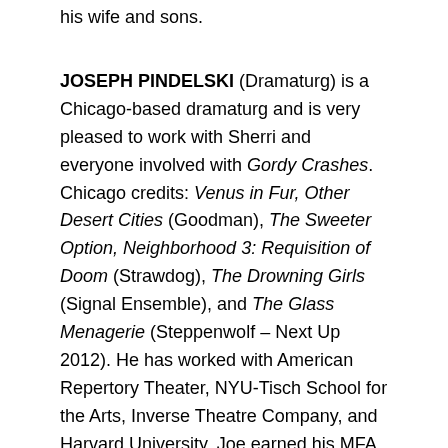his wife and sons.
JOSEPH PINDELSKI (Dramaturg) is a Chicago-based dramaturg and is very pleased to work with Sherri and everyone involved with Gordy Crashes. Chicago credits: Venus in Fur, Other Desert Cities (Goodman), The Sweeter Option, Neighborhood 3: Requisition of Doom (Strawdog), The Drowning Girls (Signal Ensemble), and The Glass Menagerie (Steppenwolf – Next Up 2012). He has worked with American Repertory Theater, NYU-Tisch School for the Arts, Inverse Theatre Company, and Harvard University. Joe earned his MFA in dramaturgy and theater studies from American Repertory Theater/Moscow Art Theatre School Institute for Advanced Theater Training at Harvard University and BA from Catholic University of America.